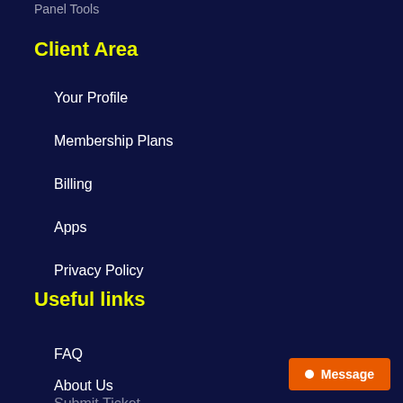Panel Tools
Client Area
Your Profile
Membership Plans
Billing
Apps
Privacy Policy
Cancel Membership
Useful links
FAQ
About Us
Submit Ticket
Message